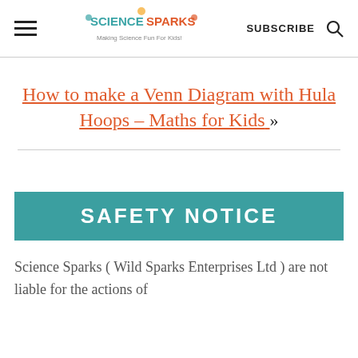Science Sparks — SUBSCRIBE [search icon]
How to make a Venn Diagram with Hula Hoops – Maths for Kids »
SAFETY NOTICE
Science Sparks ( Wild Sparks Enterprises Ltd ) are not liable for the actions of